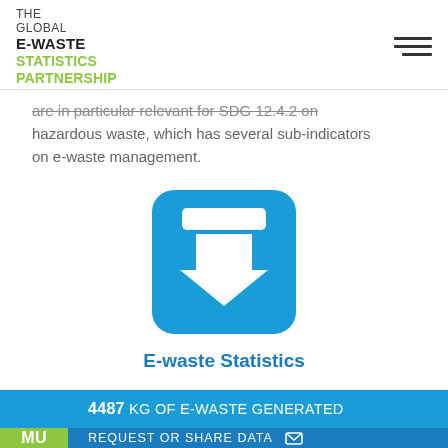THE GLOBAL E-WASTE STATISTICS PARTNERSHIP
are in particular relevant for SDG 12.4.2 on hazardous waste, which has several sub-indicators on e-waste management.
[Figure (illustration): Blue rounded square icon with a white downward arrow/download symbol in the center]
E-waste Statistics Tool
4487 KG OF E-WASTE GENERATED
REQUEST OR SHARE DATA